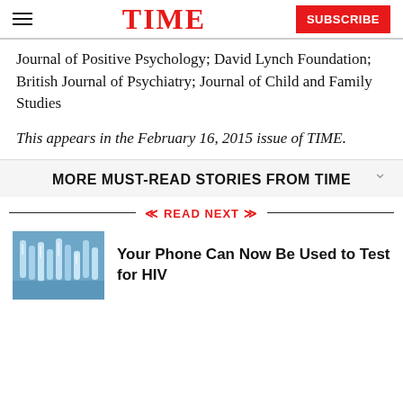TIME | SUBSCRIBE
Journal of Positive Psychology; David Lynch Foundation; British Journal of Psychiatry; Journal of Child and Family Studies
This appears in the February 16, 2015 issue of TIME.
MORE MUST-READ STORIES FROM TIME
READ NEXT
Your Phone Can Now Be Used to Test for HIV